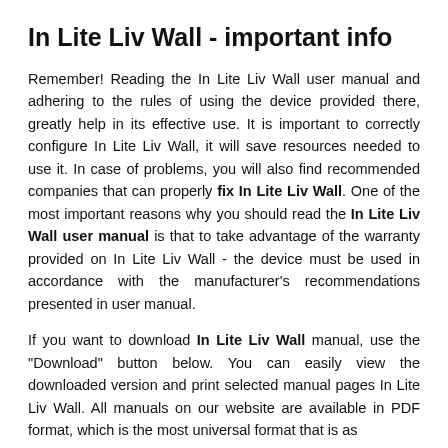In Lite Liv Wall - important info
Remember! Reading the In Lite Liv Wall user manual and adhering to the rules of using the device provided there, greatly help in its effective use. It is important to correctly configure In Lite Liv Wall, it will save resources needed to use it. In case of problems, you will also find recommended companies that can properly fix In Lite Liv Wall. One of the most important reasons why you should read the In Lite Liv Wall user manual is that to take advantage of the warranty provided on In Lite Liv Wall - the device must be used in accordance with the manufacturer's recommendations presented in user manual.
If you want to download In Lite Liv Wall manual, use the "Download" button below. You can easily view the downloaded version and print selected manual pages In Lite Liv Wall. All manuals on our website are available in PDF format, which is the most universal format that is as